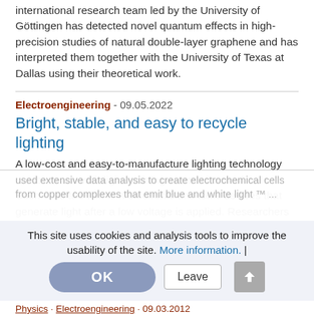international research team led by the University of Göttingen has detected novel quantum effects in high-precision studies of natural double-layer graphene and has interpreted them together with the University of Texas at Dallas using their theoretical work.
Electroengineering - 09.05.2022
Bright, stable, and easy to recycle lighting
A low-cost and easy-to-manufacture lighting technology can be made with light-emitting electrochemical cells. Such cells are thin-film electronic and ionic devices that generate light after a low voltage is applied. Researchers at the Technical University of Munich (TUM) and the University of Turin have
This site uses cookies and analysis tools to improve the usability of the site. More information. |
Physics · Electroengineering · 09.03.2012